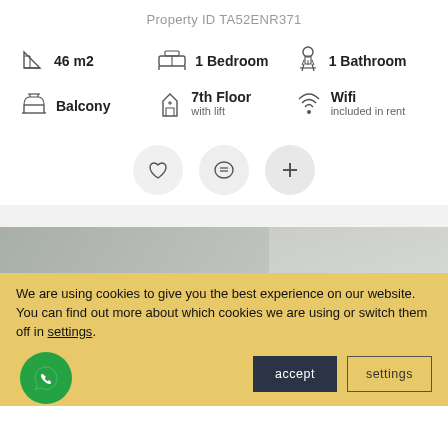Property ID TA52ENR371
46 m2 · 1 Bedroom · 1 Bathroom · Balcony · 7th Floor with lift · Wifi included in rent
[Figure (screenshot): Cookie consent banner with accept and settings buttons, and a WhatsApp chat button]
We are using cookies to give you the best experience on our website. You can find out more about which cookies we are using or switch them off in settings.